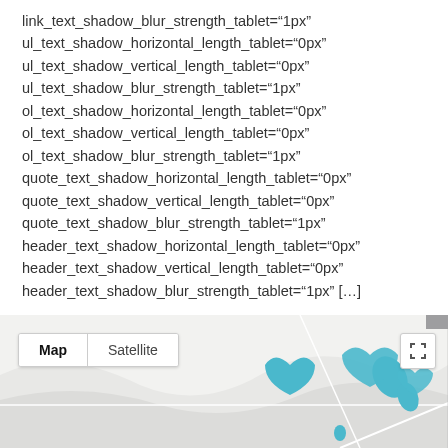link_text_shadow_blur_strength_tablet="1px"
ul_text_shadow_horizontal_length_tablet="0px"
ul_text_shadow_vertical_length_tablet="0px"
ul_text_shadow_blur_strength_tablet="1px"
ol_text_shadow_horizontal_length_tablet="0px"
ol_text_shadow_vertical_length_tablet="0px"
ol_text_shadow_blur_strength_tablet="1px"
quote_text_shadow_horizontal_length_tablet="0px"
quote_text_shadow_vertical_length_tablet="0px"
quote_text_shadow_blur_strength_tablet="1px"
header_text_shadow_horizontal_length_tablet="0px"
header_text_shadow_vertical_length_tablet="0px"
header_text_shadow_blur_strength_tablet="1px" [...]
[Figure (screenshot): Google Maps-style map view with Map/Satellite toggle buttons, showing a partial map with teal/blue location markers on a light grey background with road outlines.]